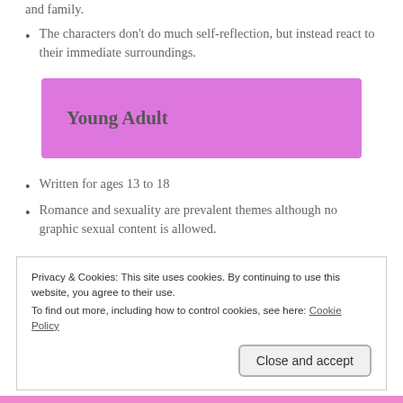and family.
The characters don't do much self-reflection, but instead react to their immediate surroundings.
Young Adult
Written for ages 13 to 18
Romance and sexuality are prevalent themes although no graphic sexual content is allowed.
Privacy & Cookies: This site uses cookies. By continuing to use this website, you agree to their use.
To find out more, including how to control cookies, see here: Cookie Policy